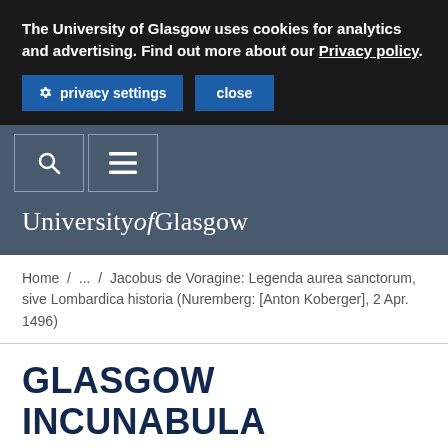The University of Glasgow uses cookies for analytics and advertising. Find out more about our Privacy policy.
privacy settings   close
[Figure (screenshot): University navigation bar with search icon and hamburger menu icon in outlined boxes on dark grey background]
University of Glasgow
Home / ... / Jacobus de Voragine: Legenda aurea sanctorum, sive Lombardica historia (Nuremberg: [Anton Koberger], 2 Apr. 1496)
GLASGOW INCUNABULA PROJECT